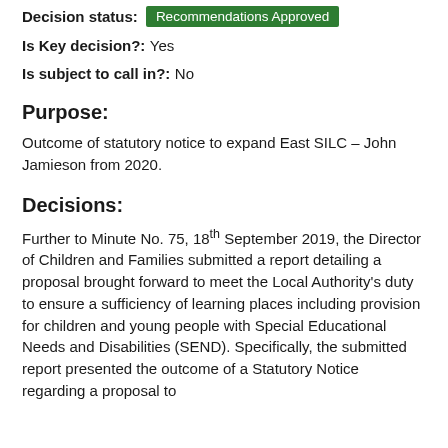Decision status: Recommendations Approved
Is Key decision?: Yes
Is subject to call in?: No
Purpose:
Outcome of statutory notice to expand East SILC – John Jamieson from 2020.
Decisions:
Further to Minute No. 75, 18th September 2019, the Director of Children and Families submitted a report detailing a proposal brought forward to meet the Local Authority's duty to ensure a sufficiency of learning places including provision for children and young people with Special Educational Needs and Disabilities (SEND). Specifically, the submitted report presented the outcome of a Statutory Notice regarding a proposal to